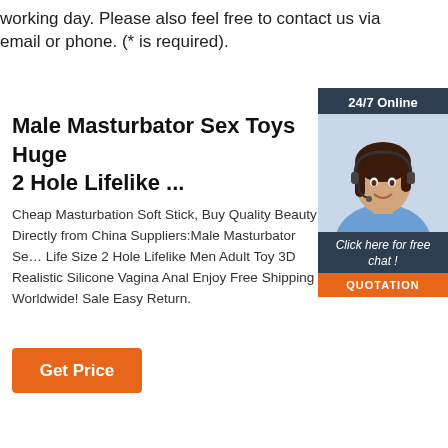working day. Please also feel free to contact us via email or phone. (* is required).
Male Masturbator Sex Toys Huge 2 Hole Lifelike ...
Cheap Masturbation Soft Stick, Buy Quality Beauty Directly from China Suppliers:Male Masturbator Sex Life Size 2 Hole Lifelike Men Adult Toy 3D Realistic Silicone Vagina Anal Enjoy Free Shipping Worldwide! Sale Easy Return.
[Figure (photo): Customer service representative with headset, smiling. Widget shows 24/7 Online, Click here for free chat!, and QUOTATION button.]
Get Price